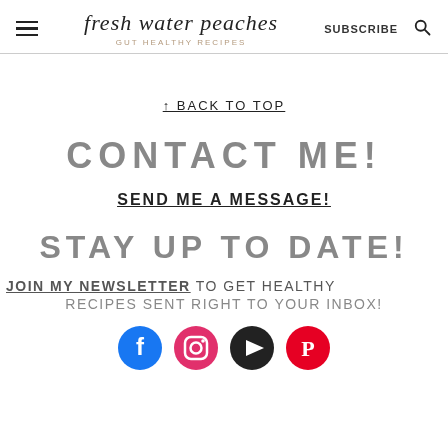fresh water peaches — GUT HEALTHY RECIPES — SUBSCRIBE
↑ BACK TO TOP
CONTACT ME!
SEND ME A MESSAGE!
STAY UP TO DATE!
JOIN MY NEWSLETTER TO GET HEALTHY RECIPES SENT RIGHT TO YOUR INBOX!